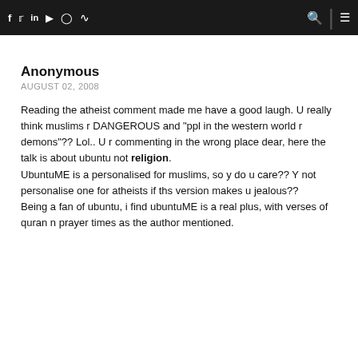f  t  in  yt  IG  RSS  [search] | [menu]
Anonymous
AUGUST 02, 2008
Reading the atheist comment made me have a good laugh. U really think muslims r DANGEROUS and "ppl in the western world r demons"?? Lol.. U r commenting in the wrong place dear, here the talk is about ubuntu not religion. UbuntuME is a personalised for muslims, so y do u care?? Y not personalise one for atheists if ths version makes u jealous?? Being a fan of ubuntu, i find ubuntuME is a real plus, with verses of quran n prayer times as the author mentioned.